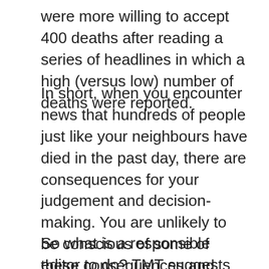were more willing to accept 400 deaths after reading a series of headlines in which a high (versus low) number of deaths were reported.
In short, when you encounter news that hundreds of people just like your neighbours have died in the past day, there are consequences for your judgement and decision-making. You are unlikely to be conscious of some of these consequences and, contrary to what the media and officials would wish, they might make you sensitive to the risks that we now face.
So what is a responsible editor to do? TMT suggests how mortality statistics might be presented without inducing unconscious